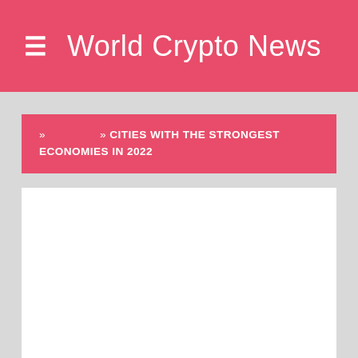World Crypto News
» » CITIES WITH THE STRONGEST ECONOMIES IN 2022
[Figure (other): White content area placeholder for article content]